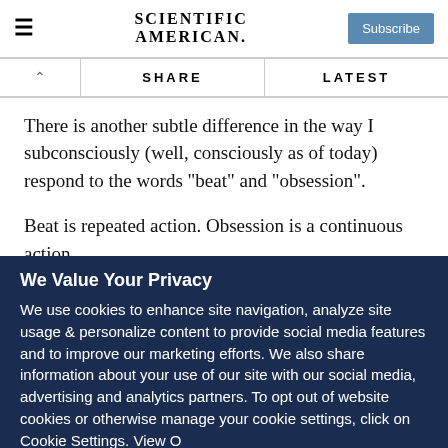SCIENTIFIC AMERICAN
There is another subtle difference in the way I subconsciously (well, consciously as of today) respond to the words "beat" and "obsession".
Beat is repeated action. Obsession is a continuous action.
Oh, wait! Column writing is a repeated action. Blogging is a
We Value Your Privacy
We use cookies to enhance site navigation, analyze site usage & personalize content to provide social media features and to improve our marketing efforts. We also share information about your use of our site with our social media, advertising and analytics partners. To opt out of website cookies or otherwise manage your cookie settings, click on Cookie Settings. View O